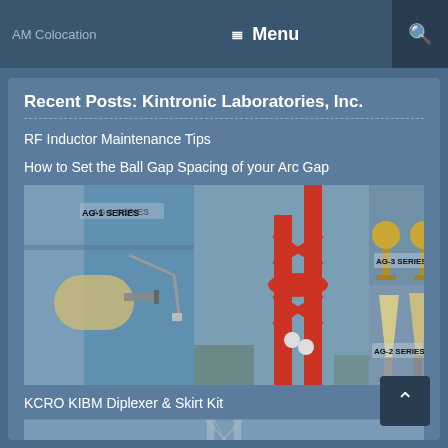AM Colocation   ☰ Menu   🔍
Recent Posts: Kintronic Laboratories, Inc.
RF Inductor Maintenance Tips
How to Set the Ball Gap Spacing of your Arc Gap
[Figure (photo): Composite photo showing three series of arc gap products: AG-1 Series (left, mounted on structure with ball gap arm), center image (red antenna tower structure with ball gap), AG-3 Series (top right, two brass ball-gap electrodes), AG-2 Series (bottom right, two fiberglass/plastic horn-type gap isolators on stands)]
KCRO KIBM Diplexer & Skirt Kit
[Figure (photo): Bottom partial view of a tower/antenna structure, partially visible at bottom of page]